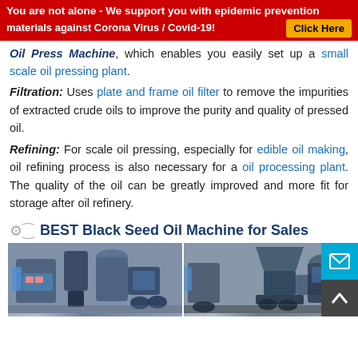You are not alone - We support you with epidemic prevention materials against Corona Virus / Covid-19! Click Here
Oil Press Machine, which enables you easily set up a small scale oil pressing plant.
Filtration: Uses plate and frame oil filter to remove the impurities of extracted crude oils to improve the purity and quality of pressed oil.
Refining: For scale oil pressing, especially for edible oil making, oil refining process is also necessary for a oil processing plant. The quality of the oil can be greatly improved and more fit for storage after oil refinery.
BEST Black Seed Oil Machine for Sales
[Figure (photo): Two photos of black seed oil press machines side by side, industrial blue machinery in a workshop setting.]